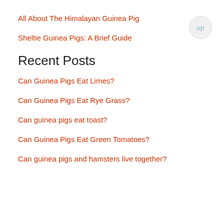All About The Himalayan Guinea Pig
Sheltie Guinea Pigs: A Brief Guide
Recent Posts
Can Guinea Pigs Eat Limes?
Can Guinea Pigs Eat Rye Grass?
Can guinea pigs eat toast?
Can Guinea Pigs Eat Green Tomatoes?
Can guinea pigs and hamsters live together?